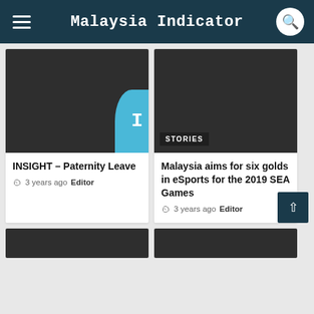Malaysia Indicator
[Figure (screenshot): Dark image placeholder for INSIGHT - Paternity Leave article]
[Figure (screenshot): Dark image placeholder for Malaysia aims for six golds in eSports for the 2019 SEA Games article, with STORIES badge]
INSIGHT – Paternity Leave
3 years ago  Editor
Malaysia aims for six golds in eSports for the 2019 SEA Games
3 years ago  Editor
[Figure (screenshot): Dark image placeholder bottom left (partial)]
[Figure (screenshot): Dark image placeholder bottom right (partial)]